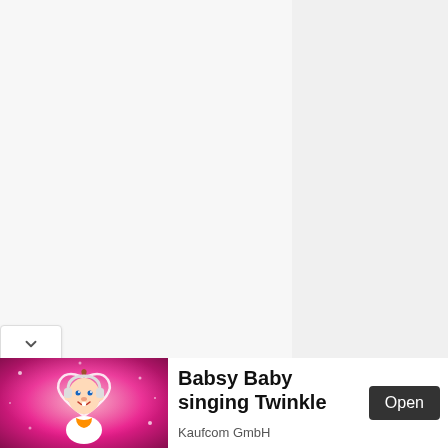[Figure (screenshot): Web browser UI showing a mostly blank/empty content area with a light gray background and a thin horizontal divider line near the top. A collapse/dropdown button with a chevron-down icon is visible at the bottom left.]
[Figure (illustration): Advertisement banner featuring a 3D animated baby character (Babsy Baby) on a pink sparkly background with a heart shape outline around the baby. Text reads 'Babsy Baby singing Twinkle' with sponsor 'Kaufcom GmbH' and an 'Open' button.]